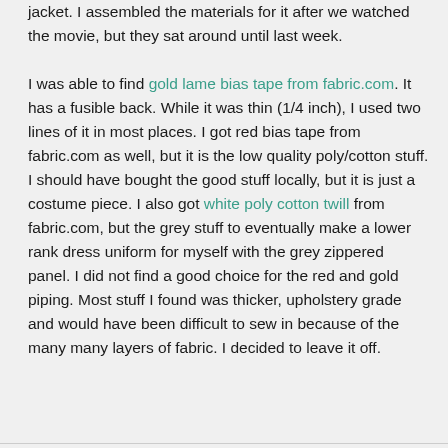jacket. I assembled the materials for it after we watched the movie, but they sat around until last week.
I was able to find gold lame bias tape from fabric.com. It has a fusible back. While it was thin (1/4 inch), I used two lines of it in most places. I got red bias tape from fabric.com as well, but it is the low quality poly/cotton stuff. I should have bought the good stuff locally, but it is just a costume piece. I also got white poly cotton twill from fabric.com, but the grey stuff to eventually make a lower rank dress uniform for myself with the grey zippered panel. I did not find a good choice for the red and gold piping. Most stuff I found was thicker, upholstery grade and would have been difficult to sew in because of the many many layers of fabric. I decided to leave it off.